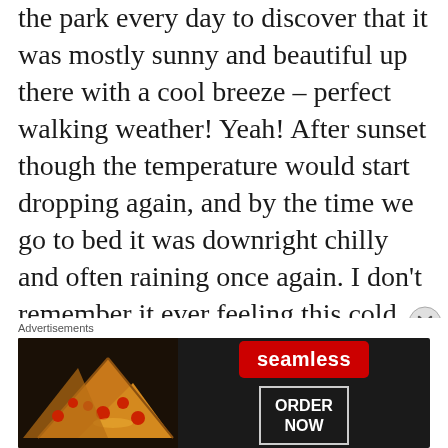the park every day to discover that it was mostly sunny and beautiful up there with a cool breeze – perfect walking weather! Yeah! After sunset though the temperature would start dropping again, and by the time we go to bed it was downright chilly and often raining once again. I don't remember it ever feeling this cold when we were here before, but I think the house we lived in previously was better insulated, and
[Figure (other): Close (X) button circle icon at bottom right of main content area]
Advertisements
[Figure (photo): Seamless food delivery advertisement banner showing pizza slices on dark background with Seamless logo in red and ORDER NOW button]